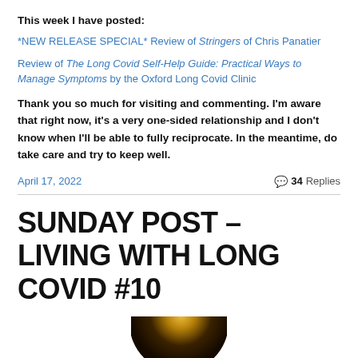This week I have posted:
*NEW RELEASE SPECIAL* Review of Stringers of Chris Panatier
Review of The Long Covid Self-Help Guide: Practical Ways to Manage Symptoms by the Oxford Long Covid Clinic
Thank you so much for visiting and commenting. I'm aware that right now, it's a very one-sided relationship and I don't know when I'll be able to fully reciprocate. In the meantime, do take care and try to keep well.
April 17, 2022
34 Replies
SUNDAY POST – LIVING WITH LONG COVID #10
[Figure (photo): Partial view of a circular object, appears to be a vinyl record or similar dark disc with golden/orange center, cropped at bottom of page]